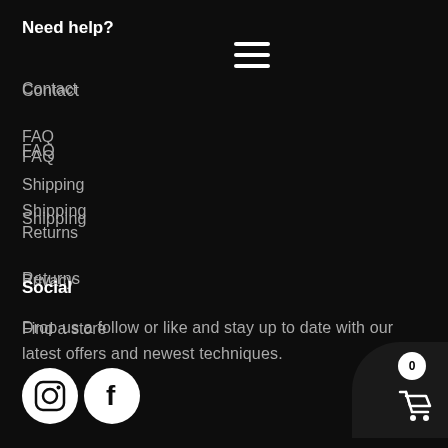Need help?
Contact
FAQ
Shipping
Returns
Privacy
Find a store
Social
Drop us a follow or like and stay up to date with our latest offers and newest techniques.
[Figure (illustration): Instagram and Facebook social media icons in white circles on black background, and a shopping cart icon with badge showing 0 in bottom right corner]